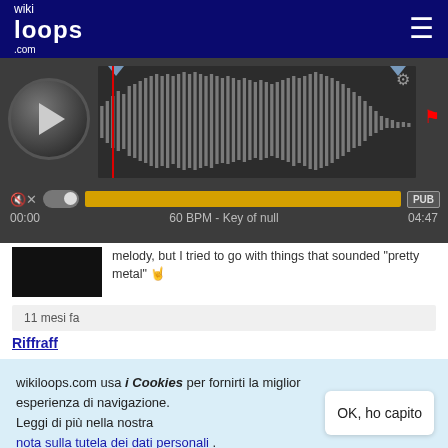wikiloops.com
[Figure (screenshot): Audio player with waveform display, play button, progress bar (yellow), time 00:00 / 04:47, 60 BPM - Key of null, gear icon, PUB button]
melody, but I tried to go with things that sounded "pretty metal" 🤘
11 mesi fa
Riffraff
wikiloops.com usa i Cookies per fornirti la miglior esperienza di navigazione.
Leggi di più nella nostra nota sulla tutela dei dati personali .